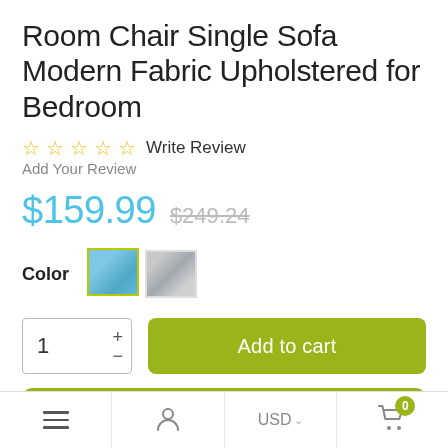Room Chair Single Sofa Modern Fabric Upholstered for Bedroom
☆ ☆ ☆ ☆ ☆  Write Review
Add Your Review
$159.99  $249.24
Color
[Figure (screenshot): Two color swatch thumbnails for a chair: blue/teal (selected with yellow-green border) and gray]
1  +  -   Add to cart
Buy It Now
≡  [user icon]  USD ∨  [cart icon] 0